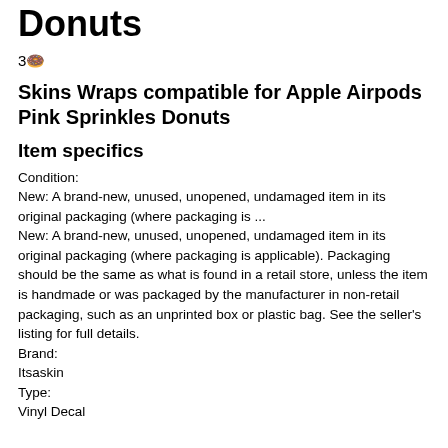Donuts
3🍩
Skins Wraps compatible for Apple Airpods Pink Sprinkles Donuts
Item specifics
Condition:
New: A brand-new, unused, unopened, undamaged item in its original packaging (where packaging is ...
New: A brand-new, unused, unopened, undamaged item in its original packaging (where packaging is applicable). Packaging should be the same as what is found in a retail store, unless the item is handmade or was packaged by the manufacturer in non-retail packaging, such as an unprinted box or plastic bag. See the seller's listing for full details.
Brand:
Itsaskin
Type:
Vinyl Decal